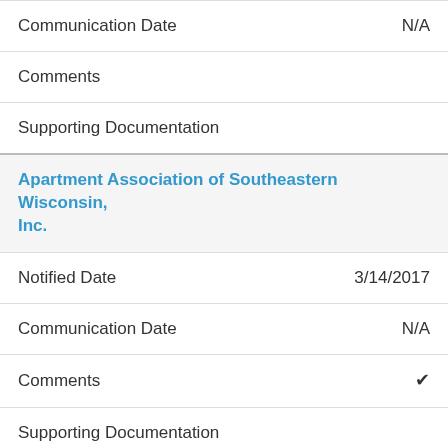| Communication Date | N/A |
| Comments |  |
| Supporting Documentation |  |
Apartment Association of Southeastern Wisconsin, Inc.
| Notified Date | 3/14/2017 |
| Communication Date | N/A |
| Comments | ✓ |
| Supporting Documentation |  |
|  | Position Info |
Church Mutual Insurance Company